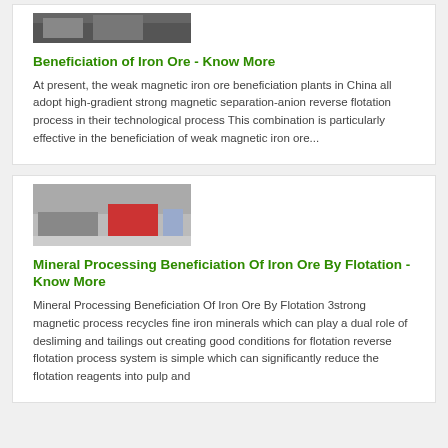[Figure (photo): Partial photo of iron ore beneficiation equipment or site, cropped at top]
Beneficiation of Iron Ore - Know More
At present, the weak magnetic iron ore beneficiation plants in China all adopt high-gradient strong magnetic separation-anion reverse flotation process in their technological process This combination is particularly effective in the beneficiation of weak magnetic iron ore...
[Figure (photo): Photo of a red truck and heavy machinery on a road, related to mineral processing transport]
Mineral Processing Beneficiation Of Iron Ore By Flotation - Know More
Mineral Processing Beneficiation Of Iron Ore By Flotation 3strong magnetic process recycles fine iron minerals which can play a dual role of desliming and tailings out creating good conditions for flotation reverse flotation process system is simple which can significantly reduce the flotation reagents into pulp and